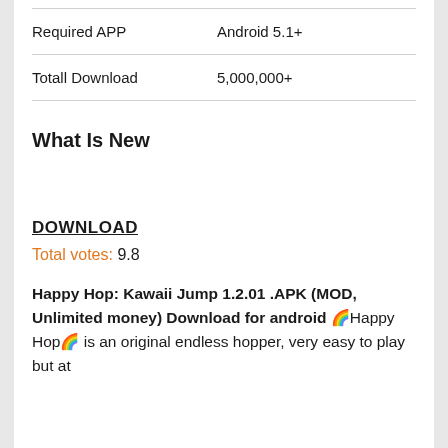| Required APP | Android 5.1+ |
| Totall Download | 5,000,000+ |
What Is New
DOWNLOAD
Total votes: 9.8
Happy Hop: Kawaii Jump 1.2.01 .APK (MOD, Unlimited money) Download for android 🌈Happy Hop🌈 is an original endless hopper, very easy to play but at